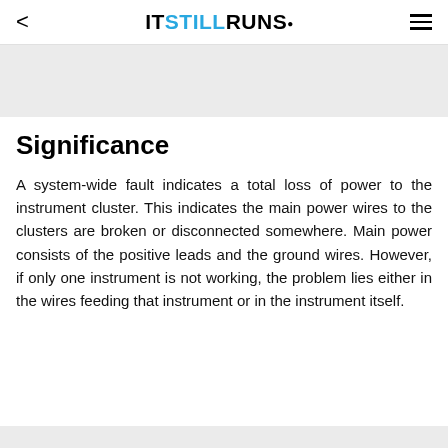< ITSTILLRUNS. ≡
[Figure (other): Gray advertisement banner placeholder]
Significance
A system-wide fault indicates a total loss of power to the instrument cluster. This indicates the main power wires to the clusters are broken or disconnected somewhere. Main power consists of the positive leads and the ground wires. However, if only one instrument is not working, the problem lies either in the wires feeding that instrument or in the instrument itself.